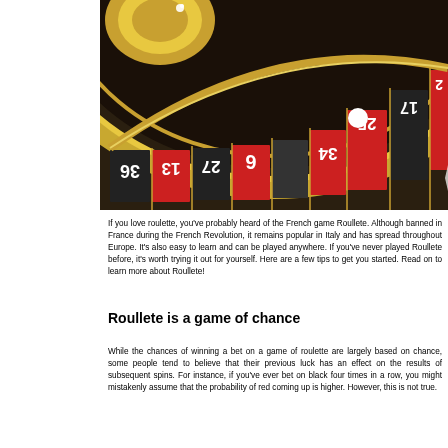[Figure (photo): Close-up photo of a roulette wheel showing numbered red and black pockets (numbers visible: 25, 17, 34, 6, 27, 13, 36, and others), gold dividers, and a white ball resting near pocket 25.]
If you love roulette, you've probably heard of the French game Roullete. Although banned in France during the French Revolution, it remains popular in Italy and has spread throughout Europe. It's also easy to learn and can be played anywhere. If you've never played Roullete before, it's worth trying it out for yourself. Here are a few tips to get you started. Read on to learn more about Roullete!
Roullete is a game of chance
While the chances of winning a bet on a game of roulette are largely based on chance, some people tend to believe that their previous luck has an effect on the results of subsequent spins. For instance, if you've ever bet on black four times in a row, you might mistakenly assume that the probability of red coming up is higher. However, this is not true.